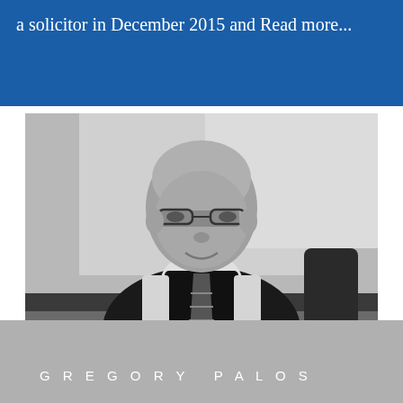a solicitor in December 2015 and Read more...
[Figure (photo): Black and white professional portrait photograph of Gregory Palos, a middle-aged bald man wearing glasses, a white dress shirt, dark vest, and striped tie, seated at a table with hands folded, in an office setting.]
GREGORY PALOS